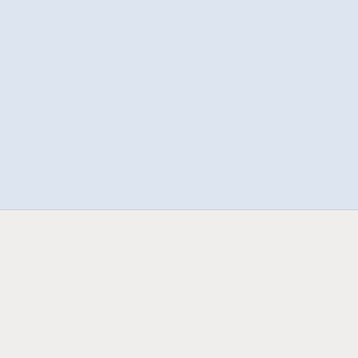[Figure (other): Light blue-grey background area (top section of webpage screenshot)]
PAGES
Media Kit - Contact
Blog Opps/News - $295 Crib Mattress
Gift Guide - You Will Like What You See
Blog Hops
Quotes
FACEBOOK - TWI
[Figure (logo): Mom it Forward logo with green circle, colored dots, and #gno panelist text on blue background]